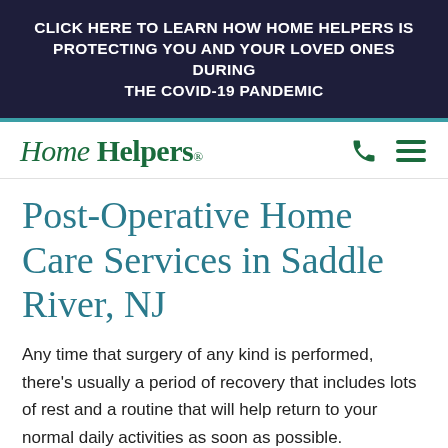CLICK HERE TO LEARN HOW HOME HELPERS IS PROTECTING YOU AND YOUR LOVED ONES DURING THE COVID-19 PANDEMIC
[Figure (logo): Home Helpers logo in green italic script with registered trademark symbol, with phone icon and hamburger menu icon on the right]
Post-Operative Home Care Services in Saddle River, NJ
Any time that surgery of any kind is performed, there's usually a period of recovery that includes lots of rest and a routine that will help return to your normal daily activities as soon as possible.